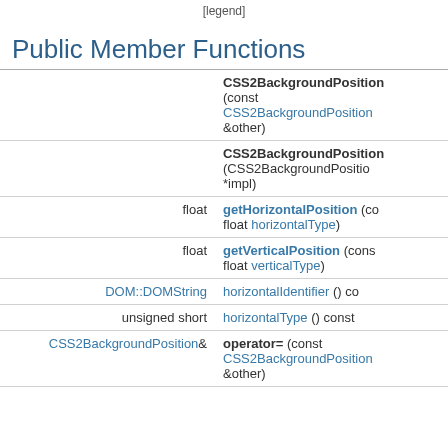[legend]
Public Member Functions
| Return type | Function signature |
| --- | --- |
|  | CSS2BackgroundPosition (const CSS2BackgroundPosition &other) |
|  | CSS2BackgroundPosition (CSS2BackgroundPosition *impl) |
| float | getHorizontalPosition (co... float horizontalType) |
| float | getVerticalPosition (cons... float verticalType) |
| DOM::DOMString | horizontalIdentifier () co... |
| unsigned short | horizontalType () const |
| CSS2BackgroundPosition& | operator= (const CSS2BackgroundPosition &other) |